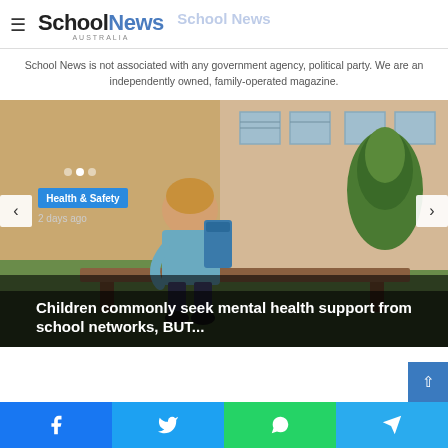School News Australia
School News is not associated with any government agency, political party. We are an independently owned, family-operated magazine.
[Figure (photo): A child sitting with head down on a bench outside a school building, appearing distressed. Blue badge reading 'Health & Safety', timestamp '2 days ago', headline overlay.]
Children commonly seek mental health support from school networks, BUT...
Health & Safety · 2 days ago